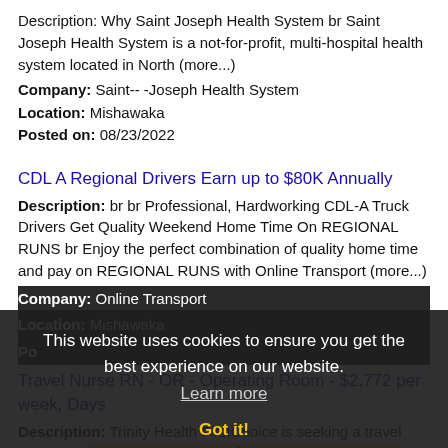Description: Why Saint Joseph Health System br Saint Joseph Health System is a not-for-profit, multi-hospital health system located in North (more...)
Company: Saint-- -Joseph Health System
Location: Mishawaka
Posted on: 08/23/2022
CDL A Regional Drivers Earn up to $80K Annually
Description: br br Professional, Hardworking CDL-A Truck Drivers Get Quality Weekend Home Time On REGIONAL RUNS br Enjoy the perfect combination of quality home time and pay on REGIONAL RUNS with Online Transport (more...)
Company: Online Transport
Location: Mishawaka
Po[sted on: partially obscured]
Travel Nurse RN - OR - Operating Room - $2,772 per week, Days
Description: Trinity Health FirstChoice is seeking a travel nurse RN OR - Operating Room for a travel nursing job in Mishawaka, Indiana.Job Description Requirements ul li Specialty: OR - Operating Room li (more...)
Company: Trinity Health FirstChoice
Location: Mishawaka
This website uses cookies to ensure you get the best experience on our website. Learn more Got it!